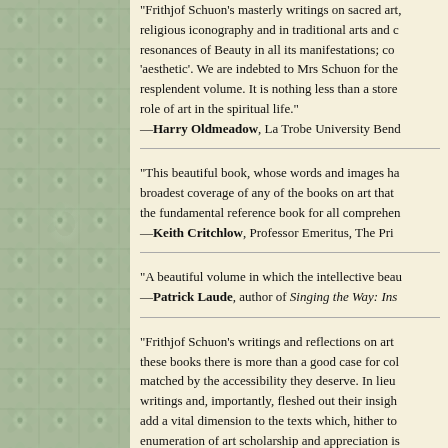"Frithjof Schuon's masterly writings on sacred art, religious iconography and in traditional arts and crafts resonate with the resonances of Beauty in all its manifestations; combining the 'transcendent' and the 'aesthetic'. We are indebted to Mrs Schuon for the visual and textual contents of this resplendent volume. It is nothing less than a store-house of wisdom concerning the role of art in the spiritual life."
—Harry Oldmeadow, La Trobe University Bendig...
"This beautiful book, whose words and images have been brilliantly chosen, has the broadest coverage of any of the books on art that readers might find ... it will become the fundamental reference book for all comprehensive studies of art."
—Keith Critchlow, Professor Emeritus, The Prin...
"A beautiful volume in which the intellective beauty ..."
—Patrick Laude, author of Singing the Way: Ins...
"Frithjof Schuon's writings and reflections on art ... these books there is more than a good case for collecting ... matched by the accessibility they deserve. In lieu of ... writings and, importantly, fleshed out their insights ... add a vital dimension to the texts which, hither to ... enumeration of art scholarship and appreciation is ... goes back to first principles, but of incidentally ...